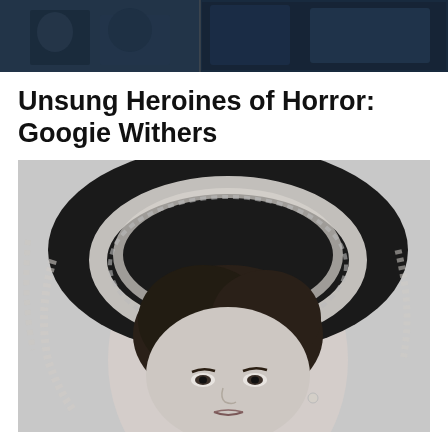[Figure (photo): Dark cinematic banner image at the top of the page showing two blueish dark film stills side by side]
Unsung Heroines of Horror: Googie Withers
[Figure (photo): Black and white portrait photograph of Googie Withers wearing a decorative dark hat with white lace trim, dark wavy hair, subtle earring, looking slightly downward with a composed expression]